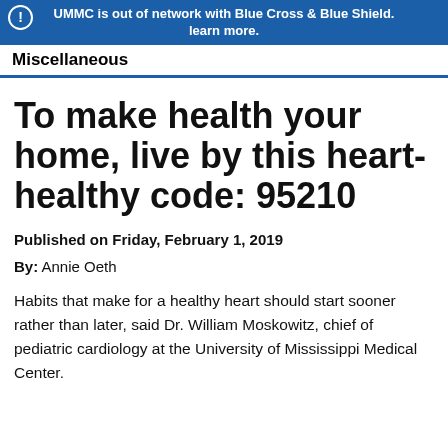UMMC is out of network with Blue Cross & Blue Shield. learn more.
Miscellaneous
To make health your home, live by this heart-healthy code: 95210
Published on Friday, February 1, 2019
By: Annie Oeth
Habits that make for a healthy heart should start sooner rather than later, said Dr. William Moskowitz, chief of pediatric cardiology at the University of Mississippi Medical Center.